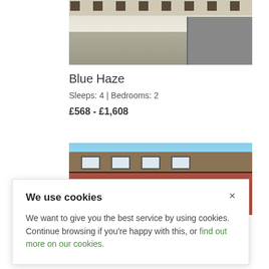[Figure (photo): Kitchen interior with white cabinets, dark countertop, tiled backsplash with dark square tiles, and a built-in oven on the right]
Blue Haze
Sleeps: 4 | Bedrooms: 2
£568 - £1,608
[Figure (photo): Exterior of a red brick building with skylights on the roof and windows visible]
We use cookies
We want to give you the best service by using cookies. Continue browsing if you're happy with this, or find out more on our cookies.
Tide s Turn